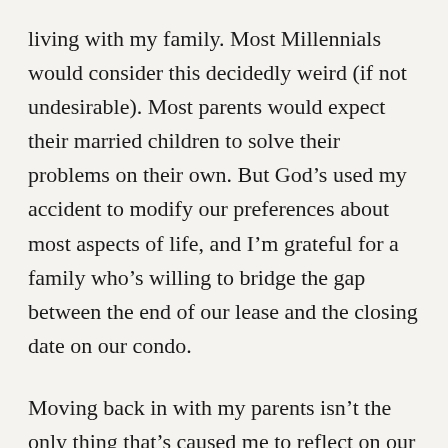living with my family. Most Millennials would consider this decidedly weird (if not undesirable). Most parents would expect their married children to solve their problems on their own. But God’s used my accident to modify our preferences about most aspects of life, and I’m grateful for a family who’s willing to bridge the gap between the end of our lease and the closing date on our condo.
Moving back in with my parents isn’t the only thing that’s caused me to reflect on our lives since the accident. Ivan mentioned in his last post that I was struggling with too many TBI symptoms to spend time on the blog. This was all too true. My “normal